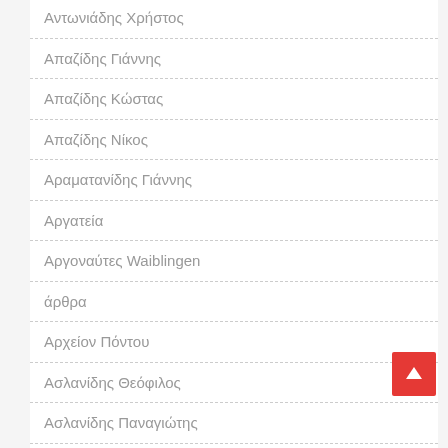Αντωνιάδης Χρήστος
Απαζίδης Γιάννης
Απαζίδης Κώστας
Απαζίδης Νίκος
Αραματανίδης Γιάννης
Αργατεία
Αργοναύτες Waiblingen
άρθρα
Αρχείον Πόντου
Ασλανίδης Θεόφιλος
Ασλανίδης Παναγιώτης
Ασλανίδης Χρήστος
Ασλανίδου Μελίνα